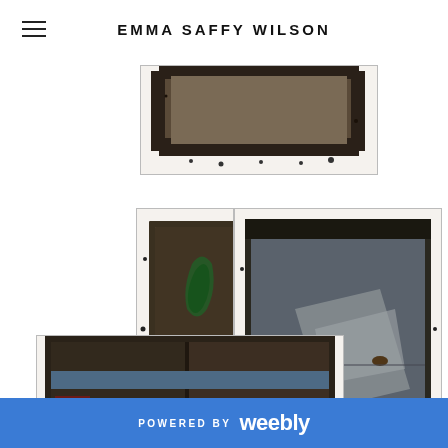EMMA SAFFY WILSON
[Figure (photo): Partial view of dark mixed media artwork with textured black edges on white background, cropped at top]
[Figure (photo): Mixed media artwork showing abstract composition with green and yellow paint marks on dark background with scattered black debris edges]
[Figure (photo): Mixed media artwork showing grey/blue metallic or painted surface with dark textured border on white background]
[Figure (photo): Mixed media artwork with blue stripe and red elements on dark textured surface, partially cropped at bottom]
POWERED BY weebly